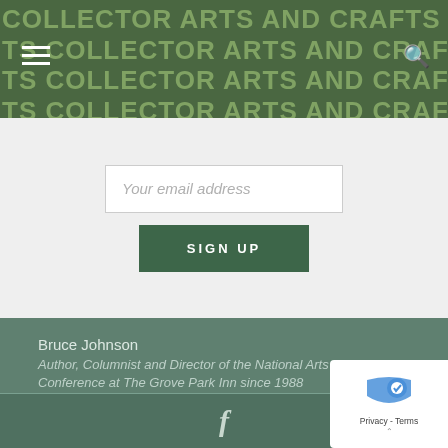COLLECTOR ARTS AND CRAFTS COLLECTOR ARTS AND CRAFTS
Your email address
SIGN UP
Bruce Johnson
Author, Columnist and Director of the National Arts & Crafts Conference at The Grove Park Inn since 1988
ph: 828.628.1915
Mon.-Fri. 9-5pm (EST)
Email Us
f